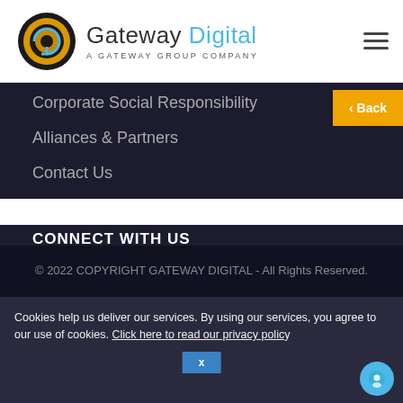Gateway Digital — A Gateway Group Company
Corporate Social Responsibility
Alliances & Partners
Contact Us
CONNECT WITH US
LinkedIn
Twitter
YouTube
© 2022 COPYRIGHT GATEWAY DIGITAL - All Rights Reserved.
Cookies help us deliver our services. By using our services, you agree to our use of cookies. Click here to read our privacy policy